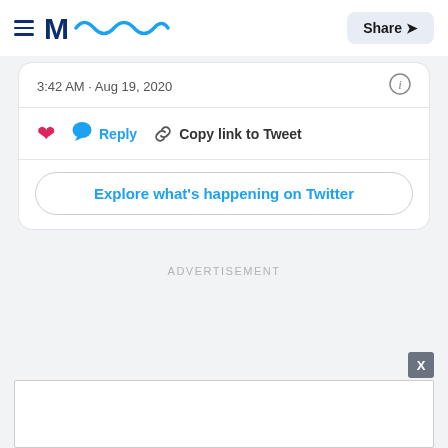Meaww — Share
3:42 AM · Aug 19, 2020
Reply   Copy link to Tweet
Explore what's happening on Twitter
ADVERTISEMENT